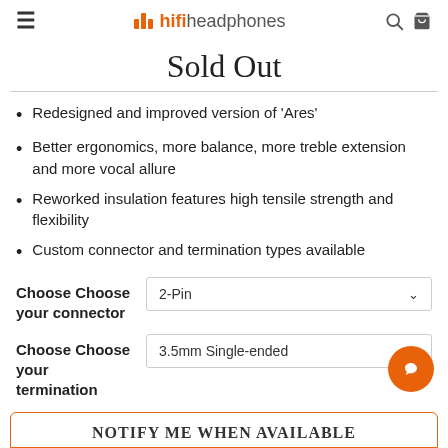≡  hifiheadphones  🔍 🛒
Sold Out
Redesigned and improved version of 'Ares'
Better ergonomics, more balance, more treble extension and more vocal allure
Reworked insulation features high tensile strength and flexibility
Custom connector and termination types available
Choose Choose your connector — 2-Pin
Choose Choose your termination — 3.5mm Single-ended
NOTIFY ME WHEN AVAILABLE